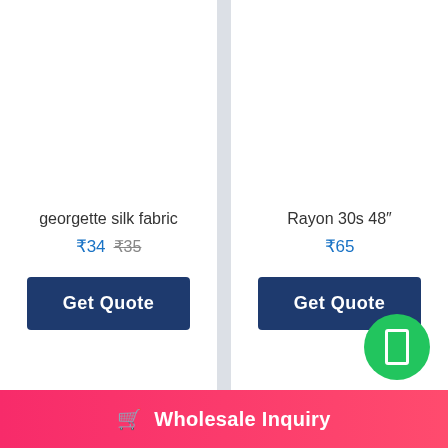georgette silk fabric
₹34  ₹-35
Get Quote
Rayon 30s 48″
₹65
Get Quote
🛒 Wholesale Inquiry